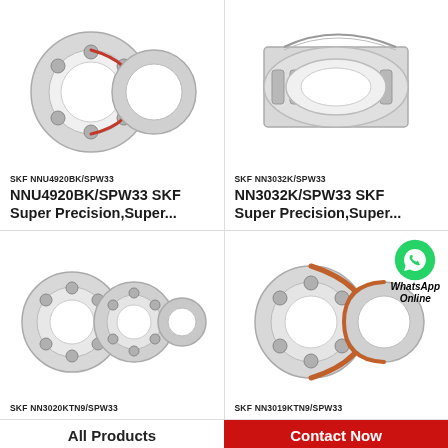[Figure (photo): SKF NNU4920BK/SPW33 super precision bearing photo showing two bearing rings]
SKF NNU4920BK/SPW33
NNU4920BK/SPW33 SKF Super Precision,Super...
[Figure (photo): SKF NN3032K/SPW33 super precision bearing photo showing cylindrical roller bearing]
SKF NN3032K/SPW33
NN3032K/SPW33 SKF Super Precision,Super...
[Figure (photo): SKF NN3020KTN9/SPW33 super precision bearing photo showing three bearing rings]
SKF NN3020KTN9/SPW33
[Figure (photo): SKF NN3019KTN9/SPW33 super precision bearing photo with WhatsApp Online overlay]
SKF NN3019KTN9/SPW33
All Products
Contact Now